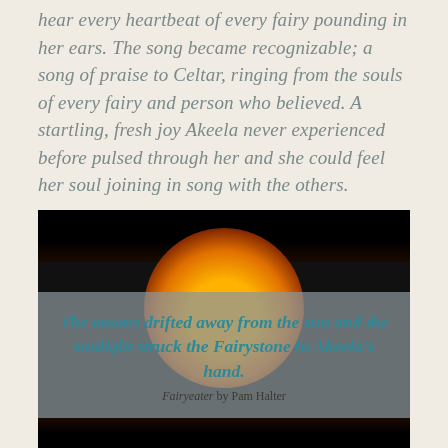hear every heartbeat of every fairy pounding in her ears. The song became recognizable; a song of praise to Celtar, ringing from the souls of every fairy and person who believed. A startling, fresh joy Akeela never experienced before pulsed through her and she could feel her soul joining in song with the others.
[Figure (photo): Eclipse photo showing an orange glowing sun/moon against a dark sky background, with a grey semi-transparent overlay banner containing a quote in teal italic font: 'The moons drifted away from the sun and the sunlight struck the Fairystone in Akeela's hand.' with attribution 'Fairyeater by Pam Halter'. The bottom of the image shows the beginning of another similar eclipse photo.]